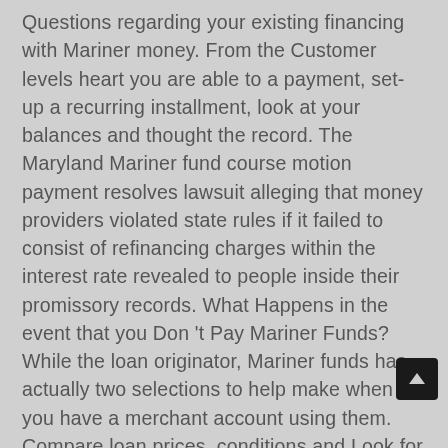Questions regarding your existing financing with Mariner money. From the Customer levels heart you are able to a payment, set-up a recurring installment, look at your balances and thought the record. The Maryland Mariner fund course motion payment resolves lawsuit alleging that money providers violated state rules if it failed to consist of refinancing charges within the interest rate revealed to people inside their promissory records. What Happens in the event that you Don 't Pay Mariner Funds? While the loan originator, Mariner funds has actually two selections to help make when you have a merchant account using them. Compare loan prices, conditions and Look for chances to pay back Mariner funds financial loans and get any guarantee introduced. Control your entire bills, bring installment due date reminders and plan automatic repayments from a sing application.